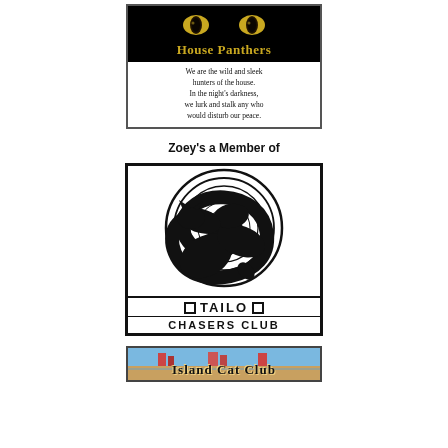[Figure (logo): House Panthers banner with black background, two glowing yellow cat eyes, gold 'House Panthers' title, and white text area with poem: 'We are the wild and sleek hunters of the house. In the night's darkness, we lurk and stalk any who would disturb our peace.']
Zoey's a Member of
[Figure (logo): Tail Chasers Club logo: black and white image of a cat chasing its tail in a spiral pattern, with 'OTAILO' and 'CHASERS CLUB' text below in bold, framed by a thick black border.]
[Figure (logo): Island Cat Club logo partially visible at bottom of page, showing colorful outdoor scene with club name text.]